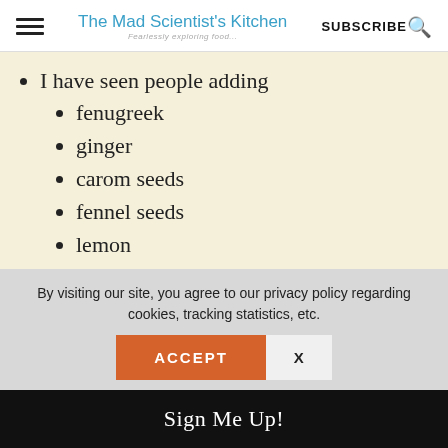The Mad Scientist's Kitchen | SUBSCRIBE
I have seen people adding
fenugreek
ginger
carom seeds
fennel seeds
lemon
I will vouch for the carom seeds, remember the gripe
By visiting our site, you agree to our privacy policy regarding cookies, tracking statistics, etc.
ACCEPT
X
Sign Me Up!